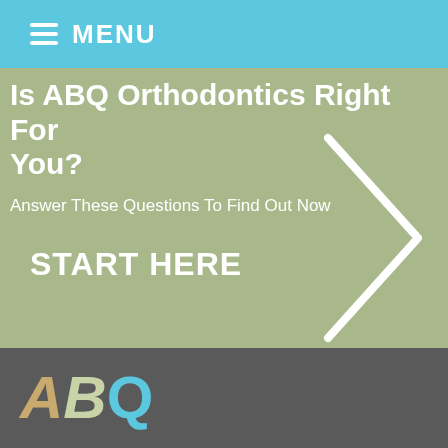MENU
Is ABQ Orthodontics Right For You?
Answer These Questions To Find Out Now
START HERE
[Figure (illustration): Large right-pointing chevron/arrow in white outline]
[Figure (logo): ABQ logo in stylized letters: A in gold/tan italic, B in sage green italic, Q in teal/cyan]
Start your Virtual Consult! powered by SmileSnap